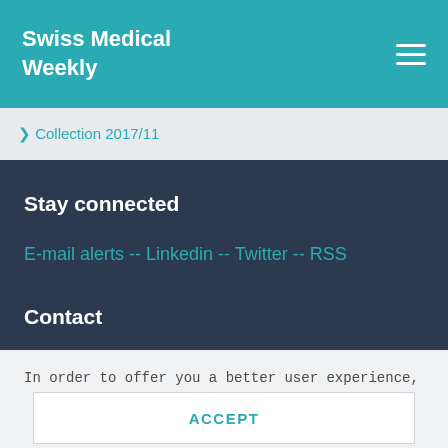Swiss Medical Weekly
❯ Collection 2017/11
Stay connected
E-mail alerts -- Linkedin -- Twitter -- RSS
Contact
In order to offer you a better user experience, we use cookies. Additional information can be found here..
ACCEPT